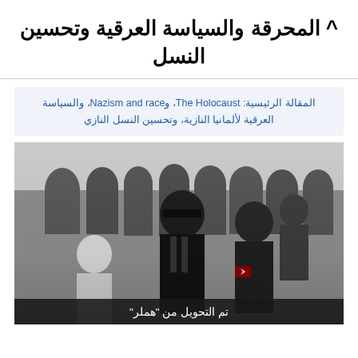^ المحرقة والسياسة العرقية وتحسين النسل
المقالة الرئيسية: The Holocaust، و Nazism and race، والسياسة العرقية لألمانيا النازية، و تحسين النسل النازي
[Figure (photo): Black and white historical photograph showing Nazi officers in uniform among a crowd, with a caption bar reading 'تم التحويل من "هملر"']
تم التحويل من "هملر"